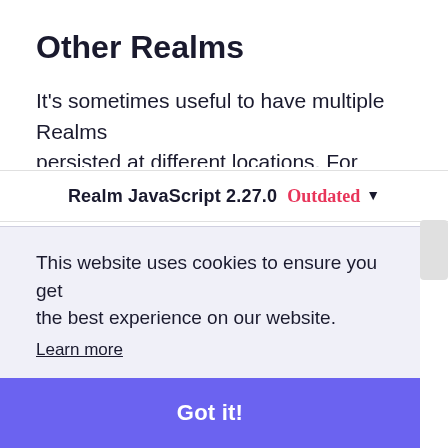Other Realms
It's sometimes useful to have multiple Realms persisted at different locations. For example, you [partial — cut off by version bar]
Realm JavaScript 2.27.0  Outdated  ▾
[partial] ...y Realm. You can do this by specifying the path argument when initializing your realm. All paths are relative to the writable documents directory
This website uses cookies to ensure you get the best experience on our website.
Learn more
Got it!